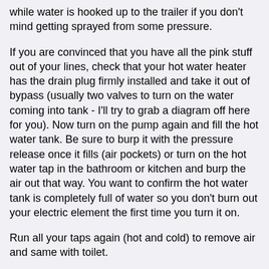while water is hooked up to the trailer if you don't mind getting sprayed from some pressure.
If you are convinced that you have all the pink stuff out of your lines, check that your hot water heater has the drain plug firmly installed and take it out of bypass (usually two valves to turn on the water coming into tank - I'll try to grab a diagram off here for you). Now turn on the pump again and fill the hot water tank. Be sure to burp it with the pressure release once it fills (air pockets) or turn on the hot water tap in the bathroom or kitchen and burp the air out that way. You want to confirm the hot water tank is completely full of water so you don't burn out your electric element the first time you turn it on.
Run all your taps again (hot and cold) to remove air and same with toilet.
It sounds like a lot but it doesn't take that long and once you get used to doing it yourself it will become very straightforward. Before my heated storage when we use to winterize, I always liked to get the antifreeze well cleaned out of the system before using the trailer.
If you have an inline filtration system (most do not nowadays) make sure the filter is out before any of the above is done. Also remember to